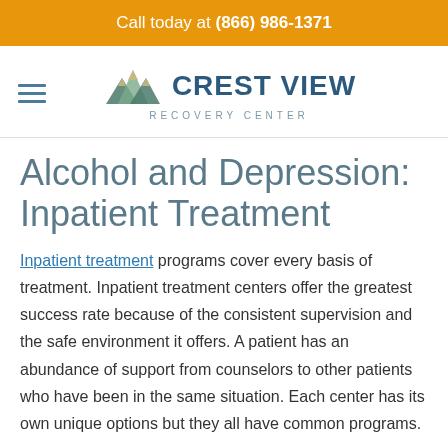Call today at (866) 986-1371
[Figure (logo): Crest View Recovery Center logo with mountain graphic above the text]
Alcohol and Depression: Inpatient Treatment
Inpatient treatment programs cover every basis of treatment. Inpatient treatment centers offer the greatest success rate because of the consistent supervision and the safe environment it offers. A patient has an abundance of support from counselors to other patients who have been in the same situation. Each center has its own unique options but they all have common programs.